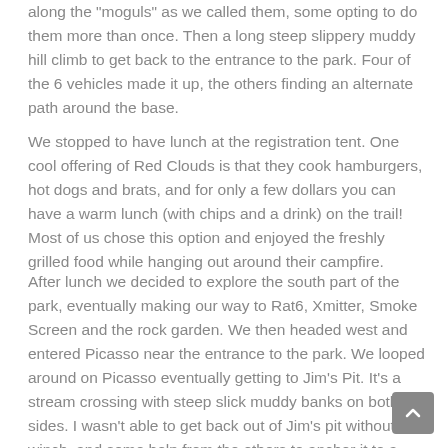along the 'moguls' as we called them, some opting to do them more than once. Then a long steep slippery muddy hill climb to get back to the entrance to the park. Four of the 6 vehicles made it up, the others finding an alternate path around the base.
We stopped to have lunch at the registration tent. One cool offering of Red Clouds is that they cook hamburgers, hot dogs and brats, and for only a few dollars you can have a warm lunch (with chips and a drink) on the trail! Most of us chose this option and enjoyed the freshly grilled food while hanging out around their campfire.
After lunch we decided to explore the south part of the park, eventually making our way to Rat6, Xmitter, Smoke Screen and the rock garden. We then headed west and entered Picasso near the entrance to the park. We looped around on Picasso eventually getting to Jim's Pit. It's a stream crossing with steep slick muddy banks on both sides. I wasn't able to get back out of Jim's pit without a winch, and some help from the others to anchor it to a tree on the other side. Once out I